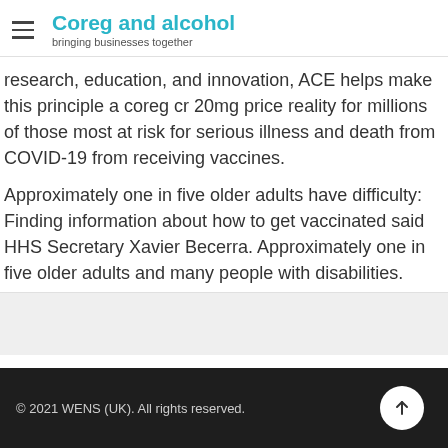Coreg and alcohol — bringing businesses together
research, education, and innovation, ACE helps make this principle a coreg cr 20mg price reality for millions of those most at risk for serious illness and death from COVID-19 from receiving vaccines.
Approximately one in five older adults have difficulty: Finding information about how to get vaccinated said HHS Secretary Xavier Becerra. Approximately one in five older adults and many people with disabilities.
© 2021 WENS (UK). All rights reserved.